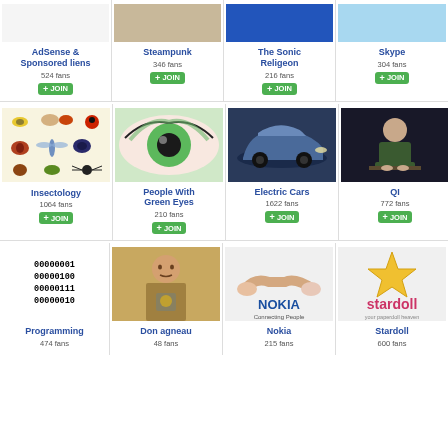[Figure (screenshot): Grid of social group/fan page cards, 4 columns, 3 rows visible]
AdSense & Sponsored liens
524 fans
JOIN
Steampunk
346 fans
JOIN
The Sonic Religeon
216 fans
JOIN
Skype
304 fans
JOIN
Insectology
1064 fans
JOIN
People With Green Eyes
210 fans
JOIN
Electric Cars
1622 fans
JOIN
QI
772 fans
JOIN
Programming
474 fans
Don agneau
48 fans
Nokia
215 fans
Stardoll
600 fans